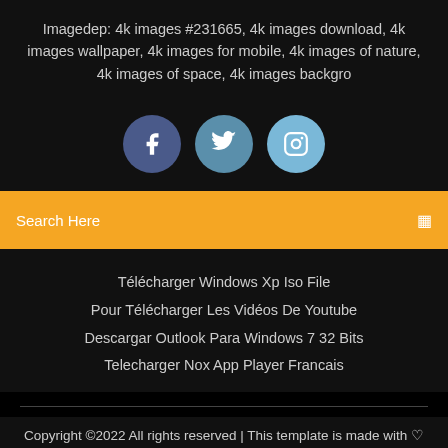Imagedep: 4k images #231665, 4k images download, 4k images wallpaper, 4k images for mobile, 4k images of nature, 4k images of space, 4k images backgro
[Figure (infographic): Three social media icon circles: Facebook (dark blue), Twitter (medium blue), Instagram (light blue)]
Search Here
Télécharger Windows Xp Iso File
Pour Télécharger Les Vidéos De Youtube
Descargar Outlook Para Windows 7 32 Bits
Telecharger Nox App Player Francais
Copyright ©2022 All rights reserved | This template is made with ♡ by Colorlib